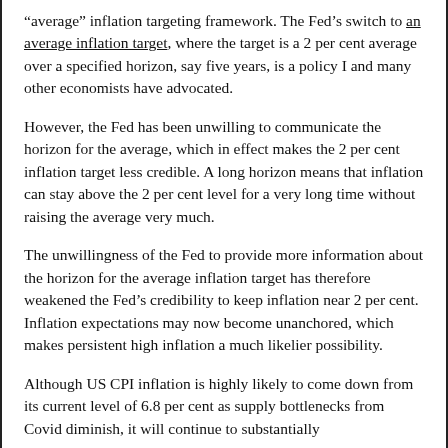“average” inflation targeting framework. The Fed’s switch to an average inflation target, where the target is a 2 per cent average over a specified horizon, say five years, is a policy I and many other economists have advocated.
However, the Fed has been unwilling to communicate the horizon for the average, which in effect makes the 2 per cent inflation target less credible. A long horizon means that inflation can stay above the 2 per cent level for a very long time without raising the average very much.
The unwillingness of the Fed to provide more information about the horizon for the average inflation target has therefore weakened the Fed’s credibility to keep inflation near 2 per cent. Inflation expectations may now become unanchored, which makes persistent high inflation a much likelier possibility.
Although US CPI inflation is highly likely to come down from its current level of 6.8 per cent as supply bottlenecks from Covid diminish, it will continue to substantially exceed the Fed’s target. The Fed needs to communicate the horizon for the average inflation target.